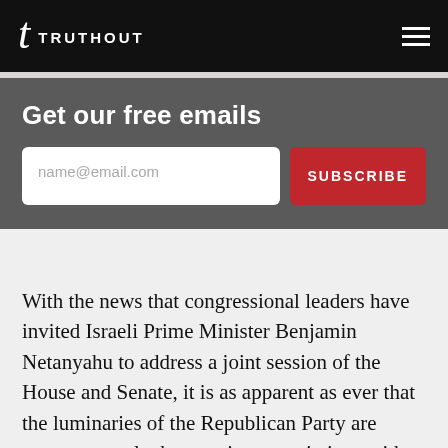TRUTHOUT
Get our free emails
name@email.com
With the news that congressional leaders have invited Israeli Prime Minister Benjamin Netanyahu to address a joint session of the House and Senate, it is as apparent as ever that the luminaries of the Republican Party are eager to scuttle the ongoing negotiations with Iran, if